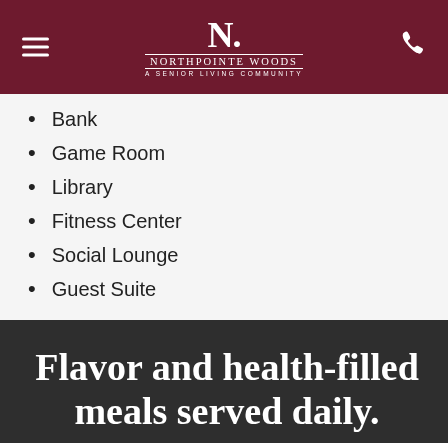NORTHPOINTE WOODS — A SENIOR LIVING COMMUNITY
Bank
Game Room
Library
Fitness Center
Social Lounge
Guest Suite
Flavor and health-filled meals served daily.